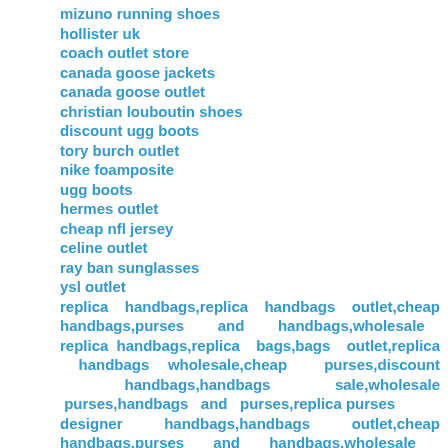mizuno running shoes
hollister uk
coach outlet store
canada goose jackets
canada goose outlet
christian louboutin shoes
discount ugg boots
tory burch outlet
nike foamposite
ugg boots
hermes outlet
cheap nfl jersey
celine outlet
ray ban sunglasses
ysl outlet
replica handbags,replica handbags outlet,cheap handbags,purses and handbags,wholesale replica handbags,replica bags,bags outlet,replica handbags wholesale,cheap purses,discount handbags,handbags sale,wholesale purses,handbags and purses,replica purses
designer handbags,handbags outlet,cheap handbags,purses and handbags,wholesale